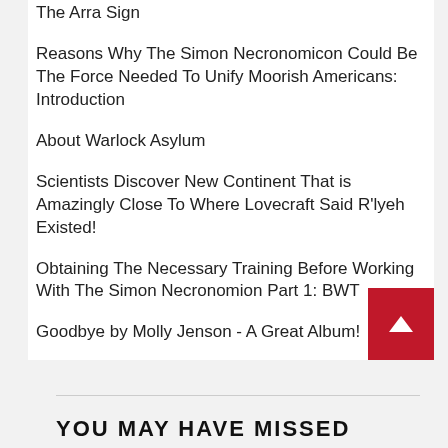The Arra Sign
Reasons Why The Simon Necronomicon Could Be The Force Needed To Unify Moorish Americans: Introduction
About Warlock Asylum
Scientists Discover New Continent That is Amazingly Close To Where Lovecraft Said R'lyeh Existed!
Obtaining The Necessary Training Before Working With The Simon Necronomion Part 1: BWT
Goodbye by Molly Jenson - A Great Album!
YOU MAY HAVE MISSED